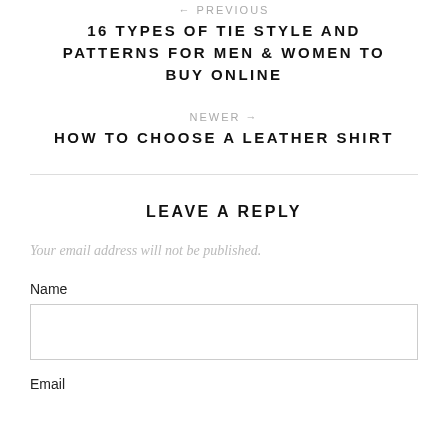← PREVIOUS
16 TYPES OF TIE STYLE AND PATTERNS FOR MEN & WOMEN TO BUY ONLINE
NEWER →
HOW TO CHOOSE A LEATHER SHIRT
LEAVE A REPLY
Your email address will not be published.
Name
Email